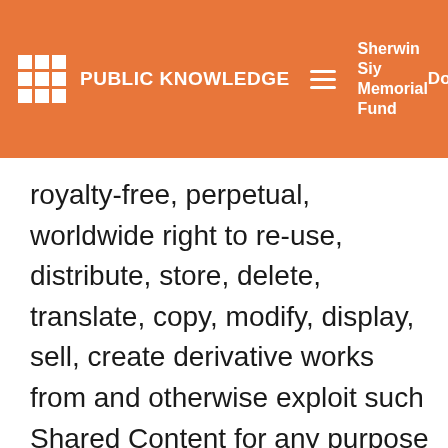PUBLIC KNOWLEDGE | Sherwin Siy Memorial Fund | Donate
royalty-free, perpetual, worldwide right to re-use, distribute, store, delete, translate, copy, modify, display, sell, create derivative works from and otherwise exploit such Shared Content for any purpose and in any media formats in any media channels without compensation to you. You shall not use [...]